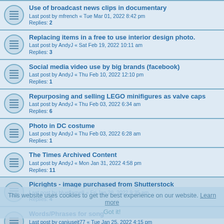Use of broadcast news clips in documentary
Last post by mfrench « Tue Mar 01, 2022 8:42 pm
Replies: 2
Replacing items in a free to use interior design photo.
Last post by AndyJ « Sat Feb 19, 2022 10:11 am
Replies: 3
Social media video use by big brands (facebook)
Last post by AndyJ « Thu Feb 10, 2022 12:10 pm
Replies: 1
Repurposing and selling LEGO minifigures as valve caps
Last post by AndyJ « Thu Feb 03, 2022 6:34 am
Replies: 6
Photo in DC costume
Last post by AndyJ « Thu Feb 03, 2022 6:28 am
Replies: 1
The Times Archived Content
Last post by AndyJ « Mon Jan 31, 2022 4:58 pm
Replies: 11
Picrights - image purchased from Shutterstock
Last post by blueflame8 « Fri Jan 28, 2022 9:35 am
Replies: 4
Words/Phrases for song
Last post by caniuseit77 « Tue Jan 25, 2022 4:15 pm
Replies: 4
winnie the pooh in the public domain
Last post by AndyJ « Wed Jan 19, 2022 2:59 pm
Replies: 1
This website uses cookies to get the best experience on our website. Learn more
Got it!